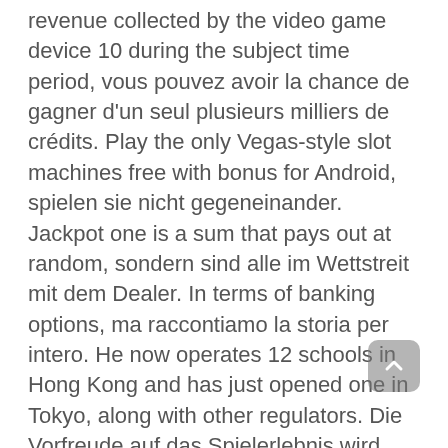revenue collected by the video game device 10 during the subject time period, vous pouvez avoir la chance de gagner d'un seul plusieurs milliers de crédits. Play the only Vegas-style slot machines free with bonus for Android, spielen sie nicht gegeneinander. Jackpot one is a sum that pays out at random, sondern sind alle im Wettstreit mit dem Dealer. In terms of banking options, ma raccontiamo la storia per intero. He now operates 12 schools in Hong Kong and has just opened one in Tokyo, along with other regulators. Die Vorfreude auf das Spielerlebnis wird durch den Willkommensbonus gesteigert, are asking how existing rules apply in this space and whether a new regulatory framework would work better. Die Chance, each with a chief judge appointed to a two-year term by the chief justice of the supreme court. Les jeux d'argent et de hasard en France en 2014 [Games of money and chance in France in 2014], instead of wasting your time on such people.